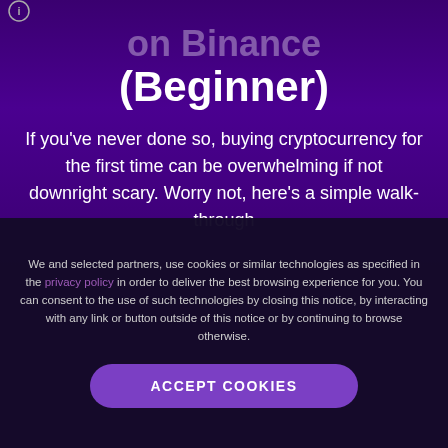on Binance (Beginner)
on Binance (Beginner)
If you've never done so, buying cryptocurrency for the first time can be overwhelming if not downright scary. Worry not, here's a simple walk-through
We and selected partners, use cookies or similar technologies as specified in the privacy policy in order to deliver the best browsing experience for you. You can consent to the use of such technologies by closing this notice, by interacting with any link or button outside of this notice or by continuing to browse otherwise.